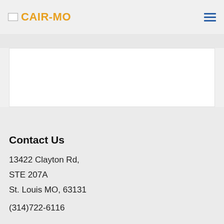CAIR-MO
Contact Us
13422 Clayton Rd,
STE 207A
St. Louis MO, 63131
(314)722-6116